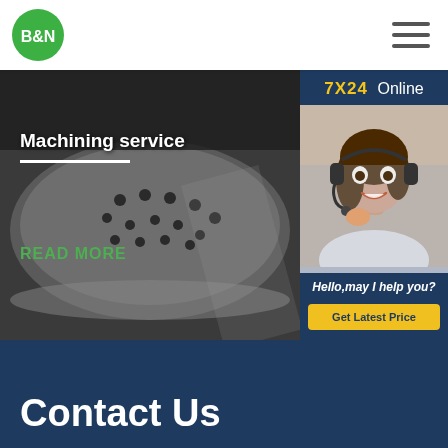[Figure (logo): B&N company logo — green circle with white bold text B&N]
[Figure (photo): Machining service banner photo showing a large industrial metal disc/plate on a CNC machine with drilled holes, dimly lit industrial environment]
Machining service
READ MORE
[Figure (photo): Customer service woman wearing headset, smiling, with 7X24 Online banner and Hello,may I help you? message and Get Latest Price button in dark blue panel]
Contact Us